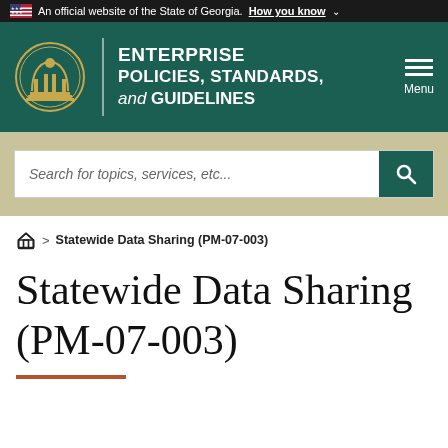An official website of the State of Georgia. How you know ∨
[Figure (logo): Georgia Enterprise Policies, Standards, and Guidelines header with state seal logo and navigation menu button]
Search for topics, services, etc...
🏠 > Statewide Data Sharing (PM-07-003)
Statewide Data Sharing (PM-07-003)